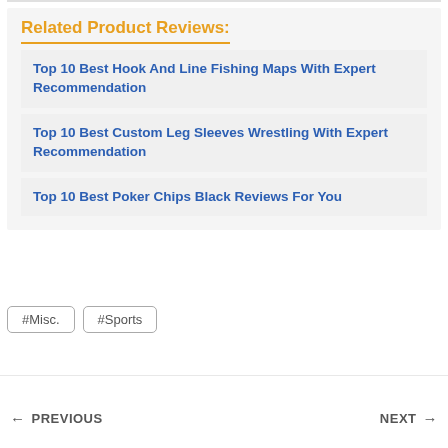Related Product Reviews:
Top 10 Best Hook And Line Fishing Maps With Expert Recommendation
Top 10 Best Custom Leg Sleeves Wrestling With Expert Recommendation
Top 10 Best Poker Chips Black Reviews For You
#Misc.
#Sports
← PREVIOUS    NEXT →